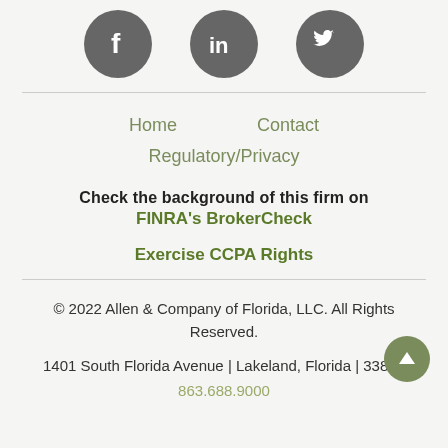[Figure (illustration): Three dark gray circular social media icons: Facebook (f), LinkedIn (in), and Twitter (bird)]
Home
Contact
Regulatory/Privacy
Check the background of this firm on FINRA's BrokerCheck
Exercise CCPA Rights
© 2022 Allen & Company of Florida, LLC. All Rights Reserved.
1401 South Florida Avenue | Lakeland, Florida | 33803
863.688.9000